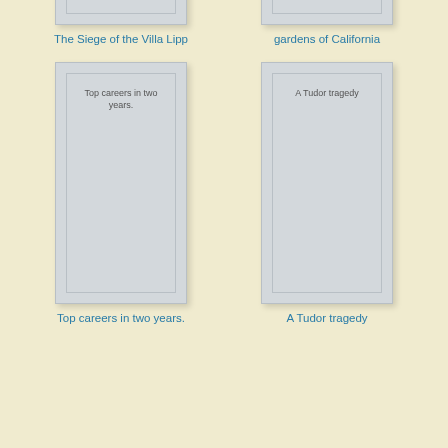[Figure (illustration): Book cover placeholder for 'The Siege of the Villa Lipp' - grey rectangle with inner border, no text visible]
The Siege of the Villa Lipp
[Figure (illustration): Book cover placeholder for 'gardens of California' - grey rectangle with inner border, no text visible]
gardens of California
[Figure (illustration): Book cover placeholder for 'Top careers in two years.' - grey rectangle with inner border, text 'Top careers in two years.' visible inside]
Top careers in two years.
[Figure (illustration): Book cover placeholder for 'A Tudor tragedy' - grey rectangle with inner border, text 'A Tudor tragedy' visible inside]
A Tudor tragedy